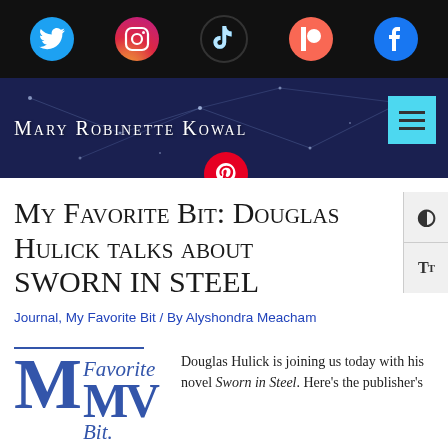[Figure (screenshot): Black header bar with five social media icons: Twitter (blue circle), Instagram (gradient circle), TikTok (dark circle), Patreon (red-orange circle), Facebook (blue circle)]
[Figure (screenshot): Dark navy website navigation banner with constellation/network background, showing 'Mary Robinette Kowal' site title in small-caps white text, a cyan hamburger menu button on right, and a Pinterest icon floating at bottom center]
My Favorite Bit: Douglas Hulick talks about SWORN IN STEEL
Journal, My Favorite Bit / By Alyshondra Meacham
[Figure (logo): My Favorite Bit logo in blue: horizontal line above large M with italic 'Favorite' and 'Bit' text]
Douglas Hulick is joining us today with his novel Sworn in Steel. Here's the publisher's